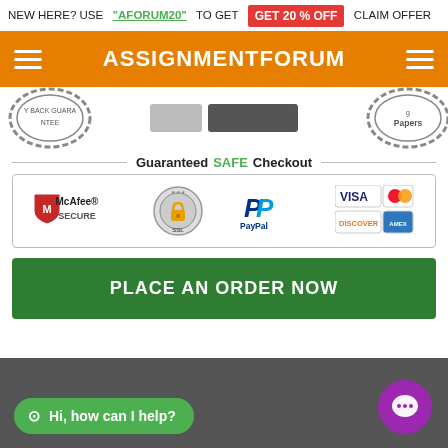NEW HERE? USE "AFORUM20" TO GET GET 20 % OFF CLAIM OFFER
ASSIGNMENTFORUM
[Figure (illustration): Money-back guarantee badge on left, Papers badge on right]
[Figure (infographic): Guaranteed SAFE Checkout banner with McAfee SECURE, SSL padlock, PayPal, Visa, Mastercard, Discover, and American Express logos]
PLACE AN ORDER NOW
Hi, how can I help?